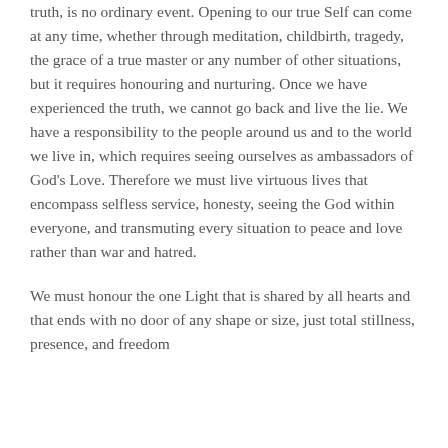truth, is no ordinary event. Opening to our true Self can come at any time, whether through meditation, childbirth, tragedy, the grace of a true master or any number of other situations, but it requires honouring and nurturing. Once we have experienced the truth, we cannot go back and live the lie. We have a responsibility to the people around us and to the world we live in, which requires seeing ourselves as ambassadors of God's Love. Therefore we must live virtuous lives that encompass selfless service, honesty, seeing the God within everyone, and transmuting every situation to peace and love rather than war and hatred.
We must honour the one Light that is shared by all hearts and that ends with no door of any shape or size, just total stillness, presence, and freedom